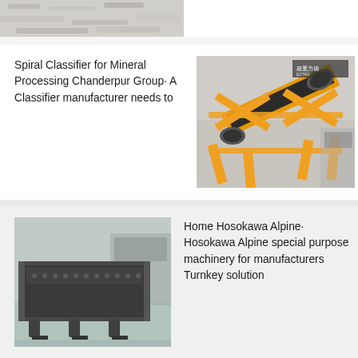[Figure (photo): Partial top image strip showing industrial mineral processing material (gray/white powder or ore) on a surface.]
Spiral Classifier for Mineral Processing Chanderpur Group· A Classifier manufacturer needs to
[Figure (photo): Yellow industrial conveyor/classifier machine with frame structure in a factory setting.]
[Figure (photo): Dark gray industrial vibrating screen machine in a factory setting.]
Home Hosokawa Alpine· Hosokawa Alpine special purpose machinery for manufacturers Turnkey solution
[Figure (photo): Partial bottom image strip of another industrial machine.]